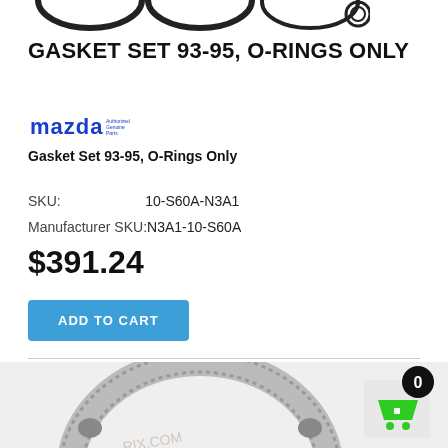[Figure (illustration): Partial view of three O-rings at top of page]
GASKET SET 93-95, O-RINGS ONLY
[Figure (logo): Mazda logo in blue]
Gasket Set 93-95, O-Rings Only
SKU: 10-S60A-N3A1
Manufacturer SKU: N3A1-10-S60A
$391.24
ADD TO CART
[Figure (photo): Photo of metal gasket set / O-ring component, circular metallic ring with dotted/beaded perforations]